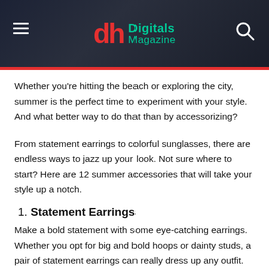Digitals Magazine
Whether you're hitting the beach or exploring the city, summer is the perfect time to experiment with your style. And what better way to do that than by accessorizing?
From statement earrings to colorful sunglasses, there are endless ways to jazz up your look. Not sure where to start? Here are 12 summer accessories that will take your style up a notch.
1. Statement Earrings
Make a bold statement with some eye-catching earrings. Whether you opt for big and bold hoops or dainty studs, a pair of statement earrings can really dress up any outfit.
2. Sunglasses